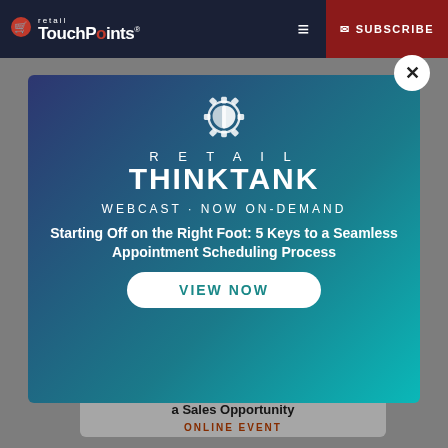retail TouchPoints® SUBSCRIBE
[Figure (screenshot): Retail TouchPoints website screenshot showing a modal popup for Retail ThinkTank webcast. The modal has a gradient blue/teal background with a gear/brain icon, 'RETAIL THINKTANK' branding, 'WEBCAST · NOW ON-DEMAND' tagline, title 'Starting Off on the Right Foot: 5 Keys to a Seamless Appointment Scheduling Process', and a 'VIEW NOW' button. Behind the modal is dimmed page content showing text 'Customer Interaction into a Sales Opportunity' and 'ONLINE EVENT'.]